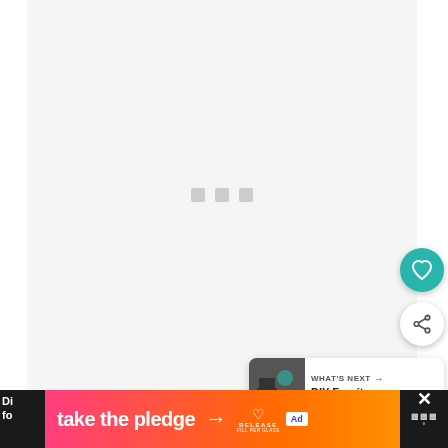[Figure (screenshot): Loading screen with three gray square dots in the center on a light gray background, representing a media player or content loading state]
[Figure (screenshot): Teal circular like/heart button (FAB) with white heart icon]
[Figure (screenshot): White circular share button (FAB) with share/add icon]
[Figure (screenshot): What's Next card showing a thumbnail of DIY furniture and text 'WHAT'S NEXT → DIY Furniture']
[Figure (screenshot): Advertisement banner reading 'take the pledge →' with Release logo and ad badge on an orange-pink gradient background]